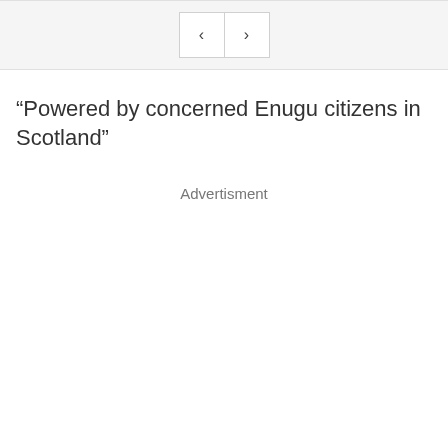[Figure (other): Navigation bar with back and forward arrow buttons on a light grey background]
“Powered by concerned Enugu citizens in Scotland”
Advertisment